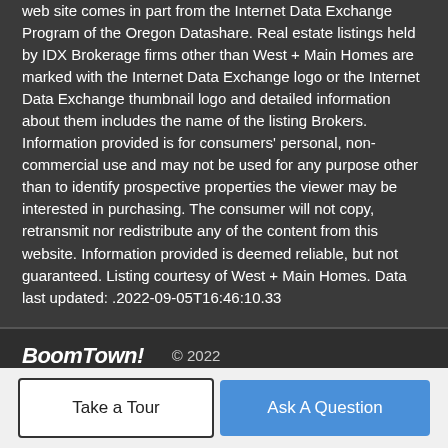web site comes in part from the Internet Data Exchange Program of the Oregon Datashare. Real estate listings held by IDX Brokerage firms other than West + Main Homes are marked with the Internet Data Exchange logo or the Internet Data Exchange thumbnail logo and detailed information about them includes the name of the listing Brokers. Information provided is for consumers' personal, non-commercial use and may not be used for any purpose other than to identify prospective properties the viewer may be interested in purchasing. The consumer will not copy, retransmit nor redistribute any of the content from this website. Information provided is deemed reliable, but not guaranteed. Listing courtesy of West + Main Homes. Data last updated: .2022-09-05T16:46:10.33
BoomTown! © 2022   Terms of Use | Privacy Policy | Accessibility | DMCA | Listings Sitemap
Take a Tour
Ask A Question